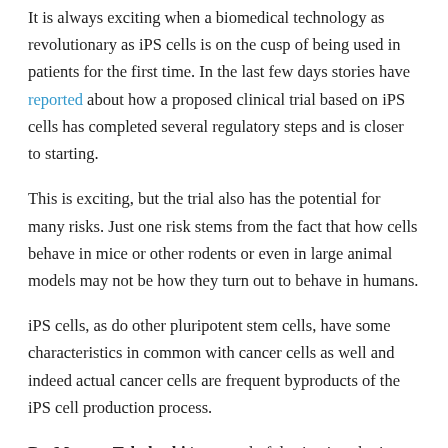It is always exciting when a biomedical technology as revolutionary as iPS cells is on the cusp of being used in patients for the first time. In the last few days stories have reported about how a proposed clinical trial based on iPS cells has completed several regulatory steps and is closer to starting.
This is exciting, but the trial also has the potential for many risks. Just one risk stems from the fact that how cells behave in mice or other rodents or even in large animal models may not be how they turn out to behave in humans.
iPS cells, as do other pluripotent stem cells, have some characteristics in common with cancer cells as well and indeed actual cancer cells are frequent byproducts of the iPS cell production process.
Dr. Masayo Takahashi is a wonderful scientist who is leading a team (see more at the Laboratory for Retinal Regeneration and here on her Riken website) that is nearing the point of having all